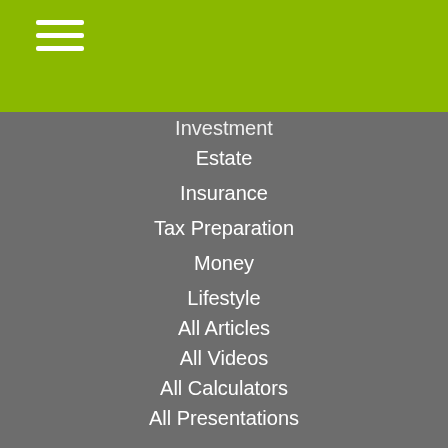[Figure (screenshot): Green header bar with hamburger menu icon (three white horizontal lines)]
Investment
Estate
Insurance
Tax Preparation
Money
Lifestyle
All Articles
All Videos
All Calculators
All Presentations
Check the background of your financial professional on FINRA's BrokerCheck.
The content is developed from sources believed to be providing accurate information. The information in this material is not intended as tax or legal advice. Please consult legal or tax professionals for specific information regarding your individual situation. Some of this material was developed and produced by FMG Suite to provide information on a topic that may be of interest. FMG Suite is not affiliated with the named representative, broker - dealer, state - or SEC - registered investment advisory firm. The opinions expressed and material provided are for general information, and should not be considered a solicitation for the purchase or sale of any security.